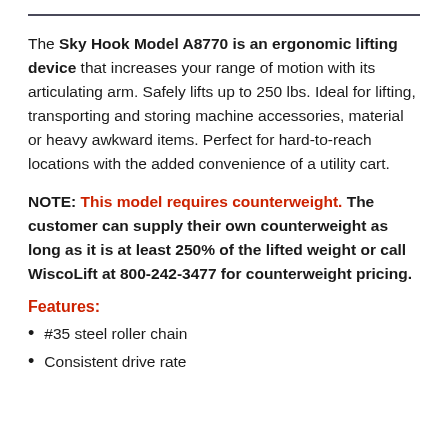The Sky Hook Model A8770 is an ergonomic lifting device that increases your range of motion with its articulating arm. Safely lifts up to 250 lbs. Ideal for lifting, transporting and storing machine accessories, material or heavy awkward items. Perfect for hard-to-reach locations with the added convenience of a utility cart.
NOTE: This model requires counterweight. The customer can supply their own counterweight as long as it is at least 250% of the lifted weight or call WiscoLift at 800-242-3477 for counterweight pricing.
Features:
#35 steel roller chain
Consistent drive rate